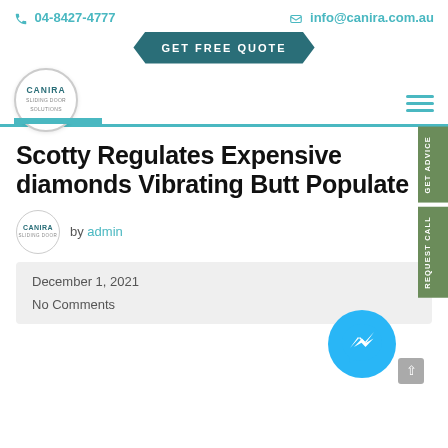04-8427-4777   info@canira.com.au
[Figure (logo): GET FREE QUOTE badge/button in teal hexagon shape centered at top]
[Figure (logo): CANIRA logo circular badge with teal underline bar and hamburger menu icon]
Scotty Regulates Expensive diamonds Vibrating Butt Populate
by admin
December 1, 2021
No Comments